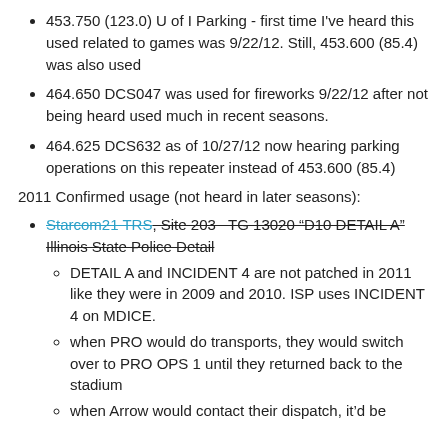453.750 (123.0) U of I Parking - first time I've heard this used related to games was 9/22/12. Still, 453.600 (85.4) was also used
464.650 DCS047 was used for fireworks 9/22/12 after not being heard used much in recent seasons.
464.625 DCS632 as of 10/27/12 now hearing parking operations on this repeater instead of 453.600 (85.4)
2011 Confirmed usage (not heard in later seasons):
Starcom21 TRS, Site 203 - TG 13020 "D10 DETAIL A" Illinois State Police Detail
DETAIL A and INCIDENT 4 are not patched in 2011 like they were in 2009 and 2010. ISP uses INCIDENT 4 on MDICE.
when PRO would do transports, they would switch over to PRO OPS 1 until they returned back to the stadium
when Arrow would contact their dispatch, it'd be